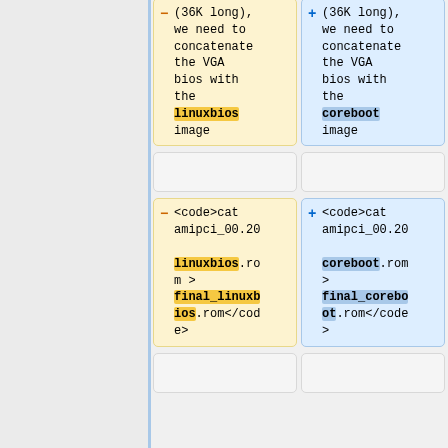Diff view showing linuxbios vs coreboot rename. Top section: (36K long), we need to concatenate the VGA bios with the linuxbios image (removed) vs coreboot image (added). Bottom section: <code>cat amipci_00.20 linuxbios.rom > final_linuxbios.rom</code> (removed) vs <code>cat amipci_00.20 coreboot.rom > final_coreboot.rom</code> (added).